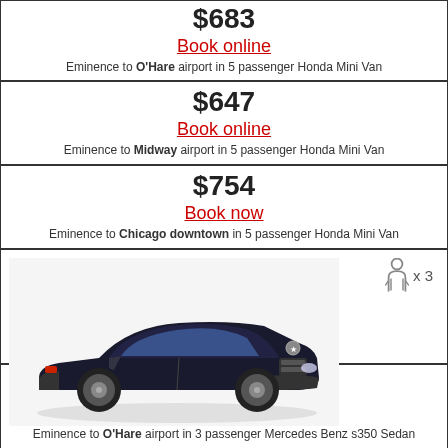$683
Book online
Eminence to O'Hare airport in 5 passenger Honda Mini Van
$647
Book online
Eminence to Midway airport in 5 passenger Honda Mini Van
$754
Book now
Eminence to Chicago downtown in 5 passenger Honda Mini Van
[Figure (photo): 3 passenger Mercedes Benz S350 Sedan, dark black luxury sedan, with person x3 capacity badge]
$788
Book online
Eminence to O'Hare airport in 3 passenger Mercedes Benz s350 Sedan